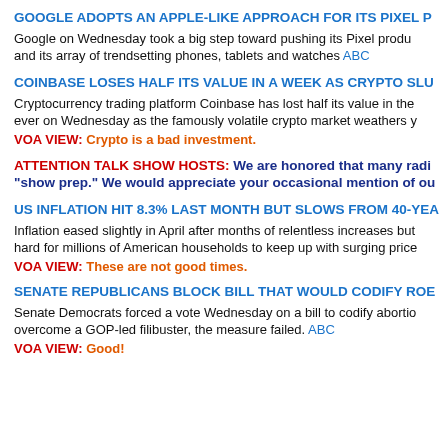GOOGLE ADOPTS AN APPLE-LIKE APPROACH FOR ITS PIXEL P
Google on Wednesday took a big step toward pushing its Pixel produ and its array of trendsetting phones, tablets and watches ABC
COINBASE LOSES HALF ITS VALUE IN A WEEK AS CRYPTO SLU
Cryptocurrency trading platform Coinbase has lost half its value in the ever on Wednesday as the famously volatile crypto market weathers y
VOA VIEW: Crypto is a bad investment.
ATTENTION TALK SHOW HOSTS: We are honored that many radi "show prep." We would appreciate your occasional mention of ou
US INFLATION HIT 8.3% LAST MONTH BUT SLOWS FROM 40-YEA
Inflation eased slightly in April after months of relentless increases but hard for millions of American households to keep up with surging price
VOA VIEW: These are not good times.
SENATE REPUBLICANS BLOCK BILL THAT WOULD CODIFY ROE
Senate Democrats forced a vote Wednesday on a bill to codify abortio overcome a GOP-led filibuster, the measure failed. ABC
VOA VIEW: Good!